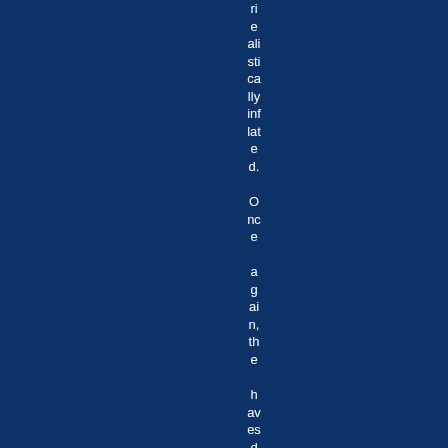realistically inflated. Once again, the havesdowell, the al